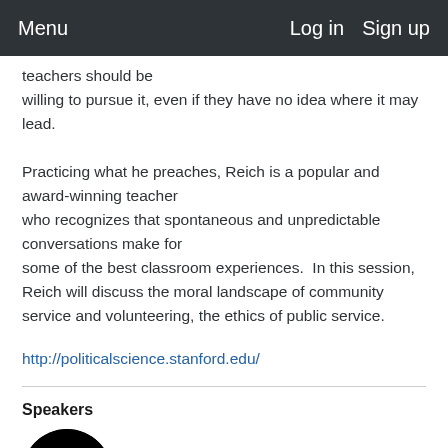Menu    Log in    Sign up
teachers should be willing to pursue it, even if they have no idea where it may lead.
Practicing what he preaches, Reich is a popular and award-winning teacher who recognizes that spontaneous and unpredictable conversations make for some of the best classroom experiences.  In this session, Reich will discuss the moral landscape of community service and volunteering, the ethics of public service.
http://politicalscience.stanford.edu/
Speakers
[Figure (photo): Circular avatar/profile photo placeholder with a dark silhouette of a person on black background]